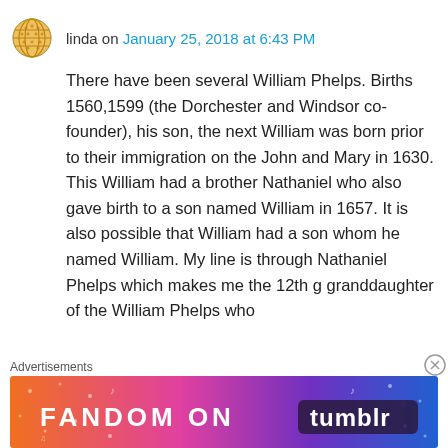linda on January 25, 2018 at 6:43 PM
There have been several William Phelps. Births 1560,1599 (the Dorchester and Windsor co-founder), his son, the next William was born prior to their immigration on the John and Mary in 1630. This William had a brother Nathaniel who also gave birth to a son named William in 1657. It is also possible that William had a son whom he named William. My line is through Nathaniel Phelps which makes me the 12th g granddaughter of the William Phelps who
Advertisements
[Figure (illustration): Colorful Fandom on Tumblr advertisement banner with orange, purple and blue gradient background]